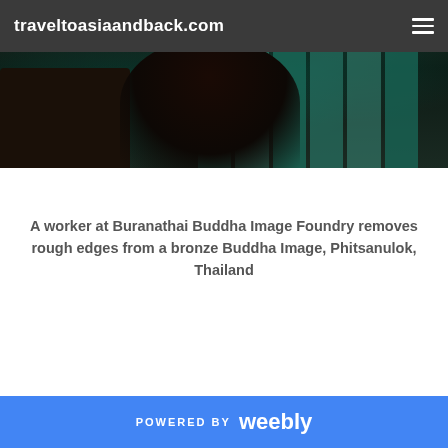traveltoasiaandback.com
[Figure (photo): A worker at Buranathai Buddha Image Foundry removes rough edges from a bronze Buddha Image, Phitsanulok, Thailand. Dark interior scene with teal vertical bars/corrugated material in background, dark figure in foreground.]
A worker at Buranathai Buddha Image Foundry removes rough edges from a bronze Buddha Image, Phitsanulok, Thailand
POWERED BY weebly